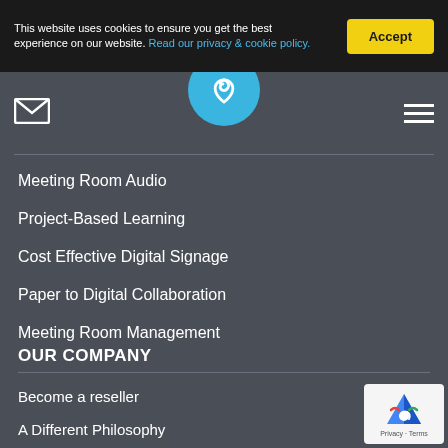This website uses cookies to ensure you get the best experience on our website. Read our privacy & cookie policy.
Accept
[Figure (logo): Blue circular logo with white wave/arrow symbol]
Meeting Room Audio
Project-Based Learning
Cost Effective Digital Signage
Paper to Digital Collaboration
Meeting Room Management
OUR COMPANY
Become a reseller
A Different Philosophy
Meet the Team
Contact Us
[Figure (logo): Google reCAPTCHA badge with Privacy and Terms links]